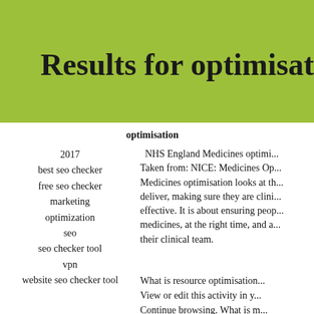Results for optimisation
optimisation
2017
best seo checker
free seo checker
marketing
optimization
seo
seo checker tool
vpn
website seo checker tool
NHS England Medicines optimisation... Taken from: NICE: Medicines Op... Medicines optimisation looks at th... deliver, making sure they are clini... effective. It is about ensuring peo... medicines, at the right time, and a... their clinical team.
What is resource optimisation... View or edit this activity in y... Continue browsing. What is m...